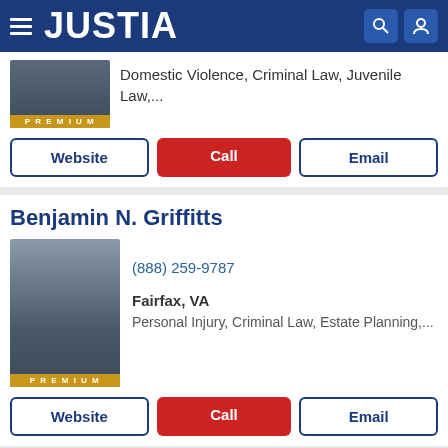[Figure (logo): Justia website header with hamburger menu, JUSTIA logo, search icon, and user icon on dark blue background]
Domestic Violence, Criminal Law, Juvenile Law,...
Website | Call | Email
Benjamin N. Griffitts
[Figure (photo): Professional headshot of Benjamin N. Griffitts, male attorney in dark suit with blue tie, smiling, dark hair and beard]
(888) 259-9787
Fairfax, VA
Personal Injury, Criminal Law, Estate Planning,...
Website | Call | Email
Willis Lanier
[Figure (photo): Partial headshot of Willis Lanier, male attorney]
(703) 879-1998